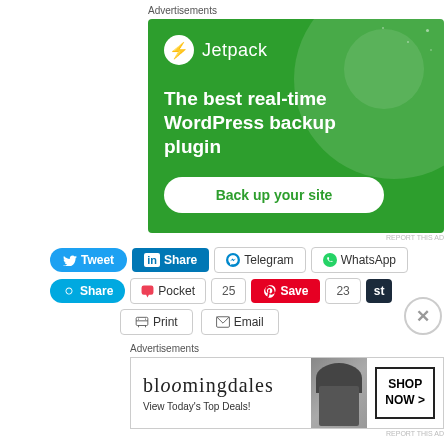Advertisements
[Figure (infographic): Jetpack WordPress backup plugin advertisement with green background, Jetpack logo, tagline 'The best real-time WordPress backup plugin', and 'Back up your site' button]
Tweet
Share
Telegram
WhatsApp
Share
Pocket
25
Save
23
st
Print
Email
Advertisements
[Figure (infographic): Bloomingdale's advertisement: logo text, 'View Today's Top Deals!', model with hat, 'SHOP NOW >' button]